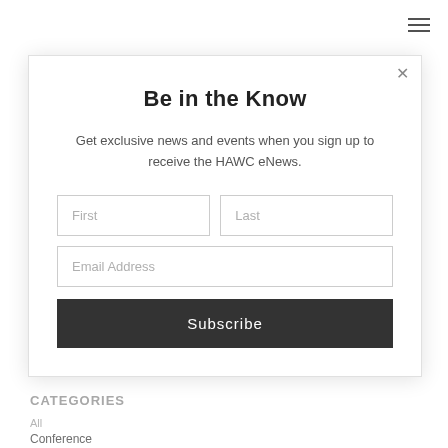[Figure (screenshot): Hamburger menu icon (three horizontal lines) in top right corner]
Notify me of new comments to this post by email
Be in the Know
Get exclusive news and events when you sign up to receive the HAWC eNews.
First
Last
Email Address
Subscribe
ARCHIVES
April 2021
October 2018
November 2010
February 2010
CATEGORIES
All
Conference